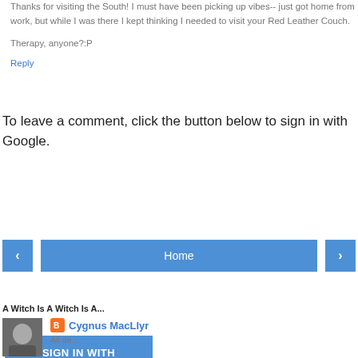Thanks for visiting the South! I must have been picking up vibes-- just got home from work, but while I was there I kept thinking I needed to visit your Red Leather Couch.

Therapy, anyone?:P
Reply
To leave a comment, click the button below to sign in with Google.
SIGN IN WITH GOOGLE
Home
View web version
A Witch Is A Witch Is A...
Cygnus MacLlyr